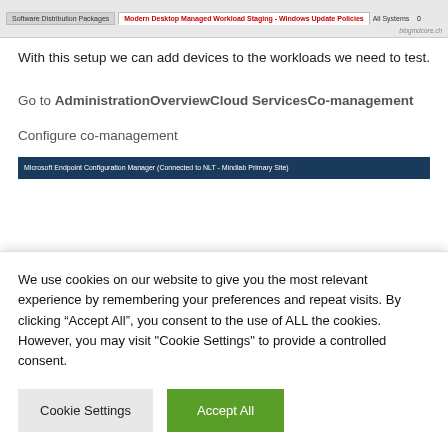[Figure (screenshot): Screenshot showing a software distribution/Windows Update Policies table header with 'Modern Desktop Managed Workload Staging - Windows Update Policies' tab highlighted in red, 'All Systems' column, and blogmdcore.ch watermark]
With this setup we can add devices to the workloads we need to test.
Go to AdministrationOverviewCloud ServicesCo-management
Configure co-management
[Figure (screenshot): Screenshot of Microsoft Endpoint Configuration Manager (Connected to NLT - Mindlab Primary Site) title bar]
We use cookies on our website to give you the most relevant experience by remembering your preferences and repeat visits. By clicking “Accept All”, you consent to the use of ALL the cookies. However, you may visit "Cookie Settings" to provide a controlled consent.